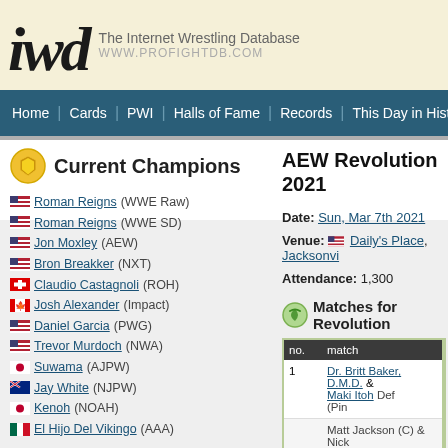iwd The Internet Wrestling Database WWW.PROFIGHTDB.COM
Home | Cards | PWI | Halls of Fame | Records | This Day in History | Oth
Current Champions
Roman Reigns (WWE Raw)
Roman Reigns (WWE SD)
Jon Moxley (AEW)
Bron Breakker (NXT)
Claudio Castagnoli (ROH)
Josh Alexander (Impact)
Daniel Garcia (PWG)
Trevor Murdoch (NWA)
Suwama (AJPW)
Jay White (NJPW)
Kenoh (NOAH)
El Hijo Del Vikingo (AAA)
AEW Revolution 2021
Date: Sun, Mar 7th 2021
Venue: Daily's Place, Jacksonville
Attendance: 1,300
Matches for Revolution
| no. | match |
| --- | --- |
| 1 | Dr. Britt Baker, D.M.D. & Maki Itoh  Def... (Pin... |
| 2 | Matt Jackson (C) & Nick... |